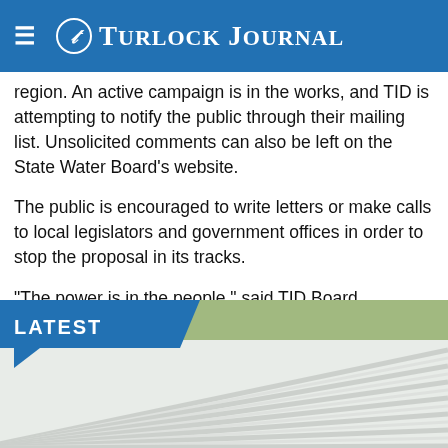Turlock Journal
region. An active campaign is in the works, and TID is attempting to notify the public through their mailing list. Unsolicited comments can also be left on the State Water Board's website.
The public is encouraged to write letters or make calls to local legislators and government offices in order to stop the proposal in its tracks.
“The power is in the people,” said TID Board President Michael Frantz. “I do believe with people such as yourself, good things will happen.”
LATEST
[Figure (photo): Partial view of a white corrugated metal roof with trees in the background, seen from below at an angle.]